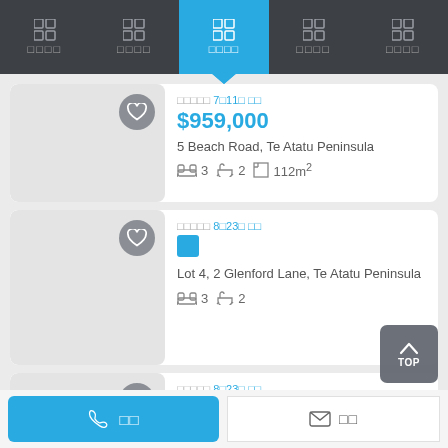Navigation bar with 5 menu items, middle item active (highlighted blue)
7월11일 등록 | $959,000 | 5 Beach Road, Te Atatu Peninsula | 3 beds 2 baths 112m²
8월23일 등록 | Lot 4, 2 Glenford Lane, Te Atatu Peninsula | 3 beds 2 baths
8월23일 등록 (partial)
전화 | 이메일